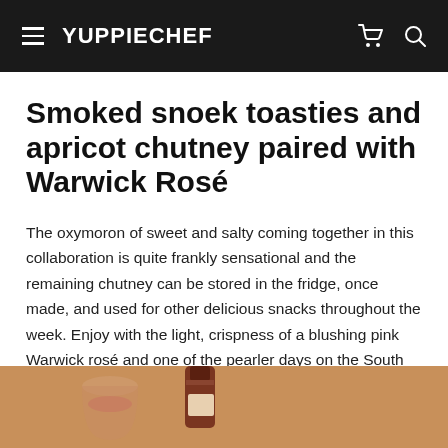YUPPIECHEF
Smoked snoek toasties and apricot chutney paired with Warwick Rosé
The oxymoron of sweet and salty coming together in this collaboration is quite frankly sensational and the remaining chutney can be stored in the fridge, once made, and used for other delicious snacks throughout the week. Enjoy with the light, crispness of a blushing pink Warwick rosé and one of the pearler days on the South African horizon for a perfect recipe combo.
[Figure (photo): Photo of wine glasses and a bottle of Warwick rosé wine on a warm-toned background]